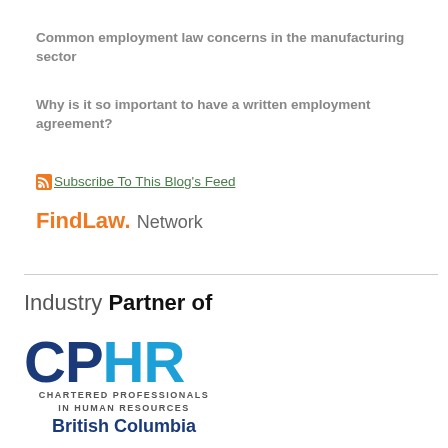Common employment law concerns in the manufacturing sector
Why is it so important to have a written employment agreement?
Subscribe To This Blog's Feed
FindLaw. Network
Industry Partner of
[Figure (logo): CPHR logo - Chartered Professionals in Human Resources, British Columbia]
British Columbia